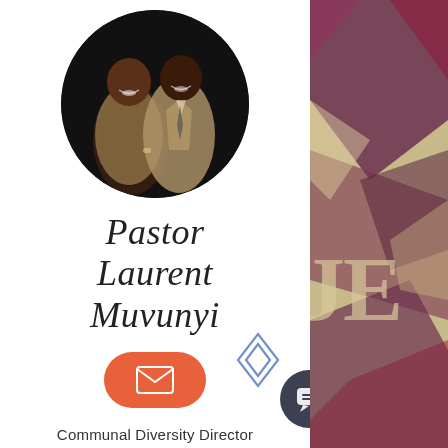[Figure (photo): Circular profile photo of two people smiling – a woman in a floral dress and a man in a beige suit]
Pastor Laurent Muvunyi
[Figure (other): Orange pill-shaped email button with envelope icon]
Communal Diversity Director
[Figure (other): Blue diamond/rhombus decorative icon]
[Figure (other): Dark circular chat/message bubble button]
[Figure (illustration): Right side panel with geometric triangular shapes in dark purple/maroon and beige/tan tones with partial text 'JE']